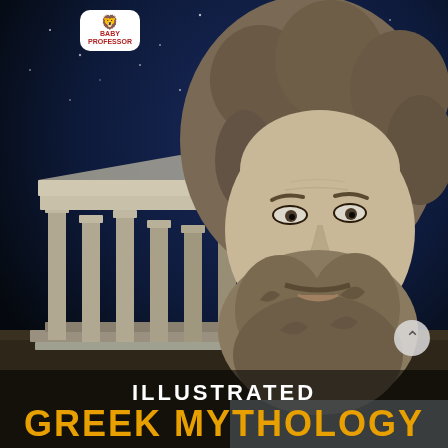[Figure (illustration): Book cover showing a large stone sculpture of a bearded Greek god (Zeus/Poseidon) on the right side with curly hair and beard, and ancient Greek temple ruins with columns on the lower left, set against a deep blue night sky background.]
ILLUSTRATED
GREEK MYTHOLOGY